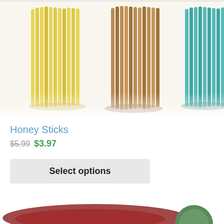[Figure (photo): Product photo showing bundles of honey sticks in three colors: yellow/lemon on the left, amber/brown in the center, and teal/blue-green on the right, with a partial orange bundle on the far right edge.]
Honey Sticks
$5.99 $3.97
Select options
[Figure (photo): Partial view of another product at the bottom of the page, showing a dark red/maroon item on the left and a green circular element on the right.]